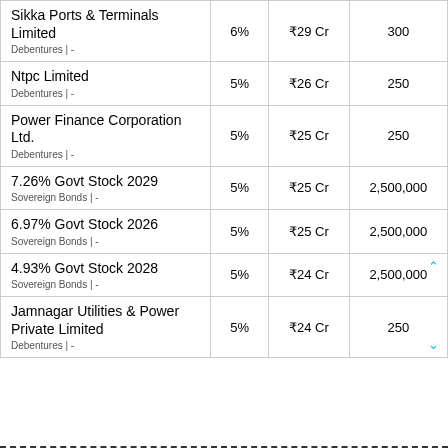| Name | % | Amount | Quantity |
| --- | --- | --- | --- |
| Sikka Ports & Terminals Limited
Debentures | - | 6% | ₹29 Cr | 300 |
| Ntpc Limited
Debentures | - | 5% | ₹26 Cr | 250 |
| Power Finance Corporation Ltd.
Debentures | - | 5% | ₹25 Cr | 250 |
| 7.26% Govt Stock 2029
Sovereign Bonds | - | 5% | ₹25 Cr | 2,500,000 |
| 6.97% Govt Stock 2026
Sovereign Bonds | - | 5% | ₹25 Cr | 2,500,000 |
| 4.93% Govt Stock 2028
Sovereign Bonds | - | 5% | ₹24 Cr | 2,500,000 |
| Jamnagar Utilities & Power Private Limited
Debentures | - | 5% | ₹24 Cr | 250 |